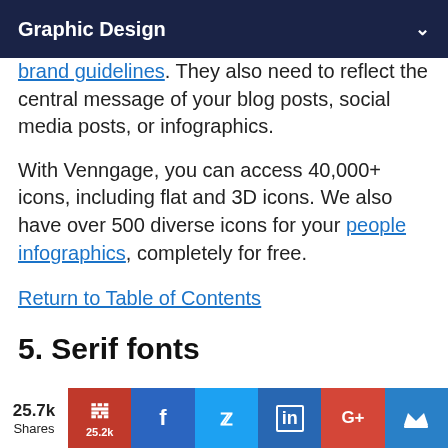Graphic Design
brand guidelines. They also need to reflect the central message of your blog posts, social media posts, or infographics.
With Venngage, you can access 40,000+ icons, including flat and 3D icons. We also have over 500 diverse icons for your people infographics, completely for free.
Return to Table of Contents
5. Serif fonts
25.7k Shares | Pinterest 25.2k | Facebook | Twitter | LinkedIn | Google+ | Crown